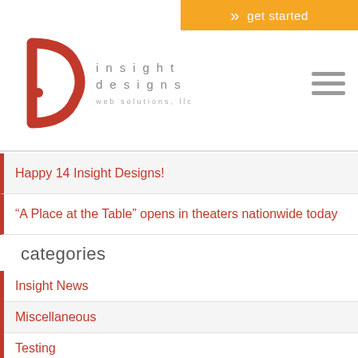[Figure (logo): Insight Designs Web Solutions LLC logo with red D/i icon and gray spaced text]
Happy 14 Insight Designs!
“A Place at the Table” opens in theaters nationwide today
categories
Insight News
Miscellaneous
Testing
Uncategorized
Web Design
Web Marketing